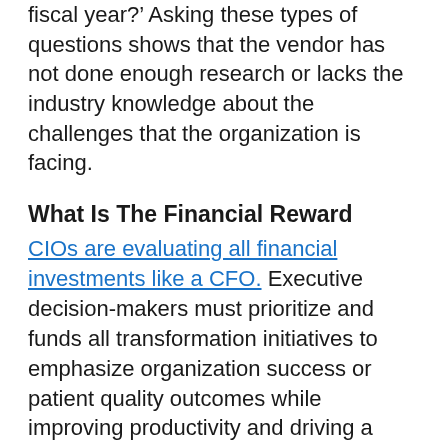fiscal year?' Asking these types of questions shows that the vendor has not done enough research or lacks the industry knowledge about the challenges that the organization is facing.
What Is The Financial Reward
CIOs are evaluating all financial investments like a CFO. Executive decision-makers must prioritize and funds all transformation initiatives to emphasize organization success or patient quality outcomes while improving productivity and driving a positive ROI. These relationships must identify financial value. The solution must allow the organization to showcase their competitive edge.